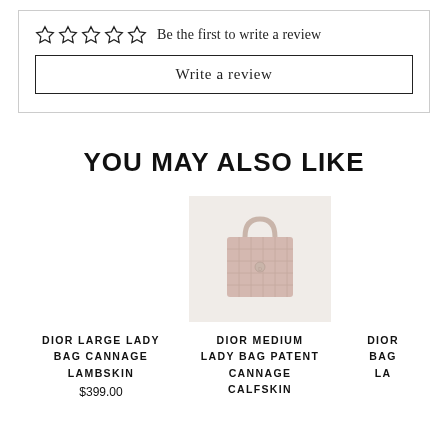☆ ☆ ☆ ☆ ☆  Be the first to write a review
Write a review
YOU MAY ALSO LIKE
[Figure (photo): Product image of Dior Medium Lady Bag Patent Cannage Calfskin in light pink/rose on a beige background]
DIOR LARGE LADY BAG CANNAGE LAMBSKIN
$399.00
DIOR MEDIUM LADY BAG PATENT CANNAGE CALFSKIN
DIOR
BAG
LA